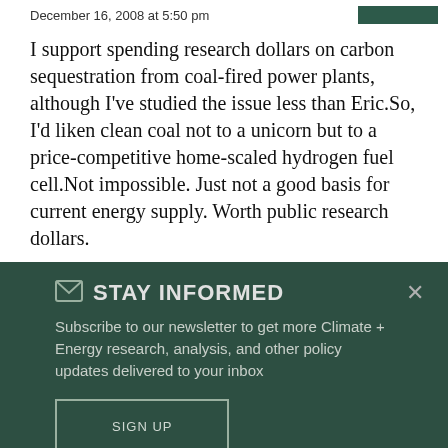December 16, 2008 at 5:50 pm
I support spending research dollars on carbon sequestration from coal-fired power plants, although I've studied the issue less than Eric.So, I'd liken clean coal not to a unicorn but to a price-competitive home-scaled hydrogen fuel cell.Not impossible. Just not a good basis for current energy supply. Worth public research dollars.
STAY INFORMED
Subscribe to our newsletter to get more Climate + Energy research, analysis, and other policy updates delivered to your inbox
SIGN UP